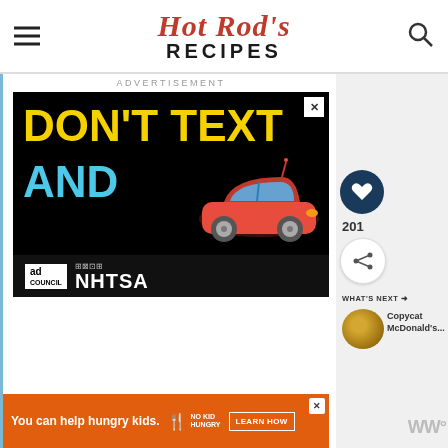Hot Rod's RECIPES
ADVERTISEMENT
[Figure (screenshot): PSA advertisement: 'DON'T TEXT AND DRIVE' with a red car emoji, sponsored by Ad Council and NHTSA on a black background]
WHAT'S NEXT → Copycat McDonald's...
[Figure (photo): Thumbnail of food item (golden/brown circular food)]
You can help hungry kids. NO KID HUNGRY LEARN HOW